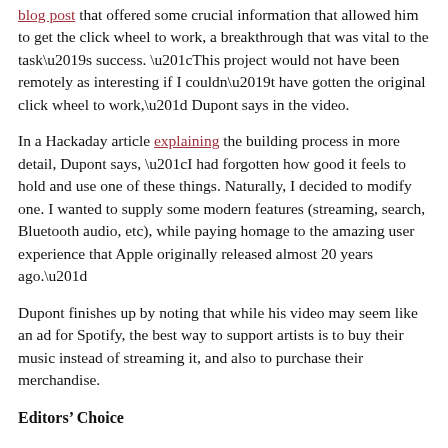blog post that offered some crucial information that allowed him to get the click wheel to work, a breakthrough that was vital to the task’s success. “This project would not have been remotely as interesting if I couldn’t have gotten the original click wheel to work,” Dupont says in the video.
In a Hackaday article explaining the building process in more detail, Dupont says, “I had forgotten how good it feels to hold and use one of these things. Naturally, I decided to modify one. I wanted to supply some modern features (streaming, search, Bluetooth audio, etc), while paying homage to the amazing user experience that Apple originally released almost 20 years ago.”
Dupont finishes up by noting that while his video may seem like an ad for Spotify, the best way to support artists is to buy their music instead of streaming it, and also to purchase their merchandise.
Editors’ Choice